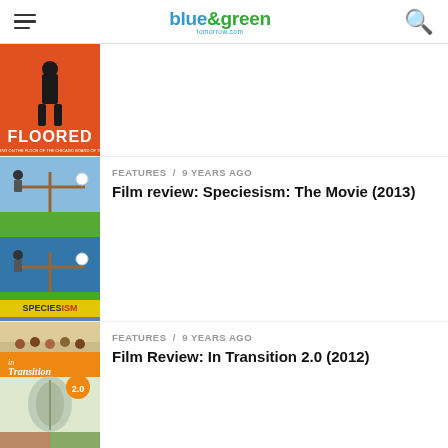blue&green tomorrow — navigation header
[Figure (photo): Thumbnail image for 'FLOORED' movie review — orange background with person standing]
FEATURES / 9 years ago
Film review: Speciesism: The Movie (2013)
[Figure (photo): Thumbnail image for Speciesism: The Movie (2013) — man on seesaw with bird, repeated twice]
FEATURES / 9 years ago
Film Review: In Transition 2.0 (2012)
[Figure (photo): Thumbnail image for In Transition 2.0 (2012) — green transition documentary, shown twice]